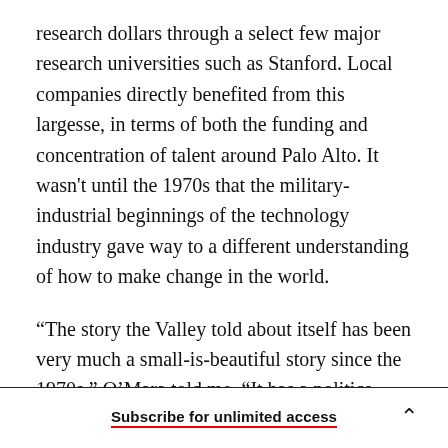research dollars through a select few major research universities such as Stanford. Local companies directly benefited from this largesse, in terms of both the funding and concentration of talent around Palo Alto. It wasn't until the 1970s that the military-industrial beginnings of the technology industry gave way to a different understanding of how to make change in the world.
“The story the Valley told about itself has been very much a small-is-beautiful story since the 1970s,” O’Mara told me. “It has a politics—this Vietnam-era rejection of the military-industrial complex,
Subscribe for unlimited access